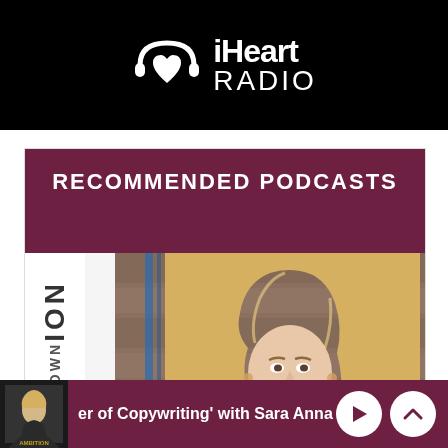[Figure (logo): iHeartRadio logo white on black background with heart icon]
[Figure (screenshot): iHeartRadio recommended podcasts section with maroon header and downward triangle pointer, showing a blonde woman's photo below]
[Figure (screenshot): Bottom player bar showing podcast episode 'er of Copywriting' with Sara Anna Po with play and chevron up controls]